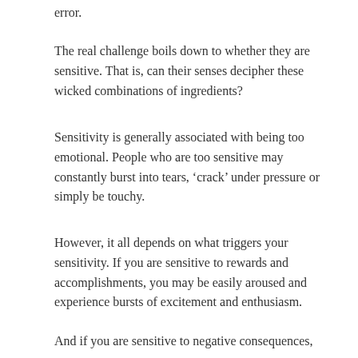error.
The real challenge boils down to whether they are sensitive. That is, can their senses decipher these wicked combinations of ingredients?
Sensitivity is generally associated with being too emotional. People who are too sensitive may constantly burst into tears, ‘crack’ under pressure or simply be touchy.
However, it all depends on what triggers your sensitivity. If you are sensitive to rewards and accomplishments, you may be easily aroused and experience bursts of excitement and enthusiasm.
And if you are sensitive to negative consequences, you may be quick to become anxious and worried.
Then there is sensitivity to aesthetics. This sensitivity relates to whether we are attuned to the subtleties in